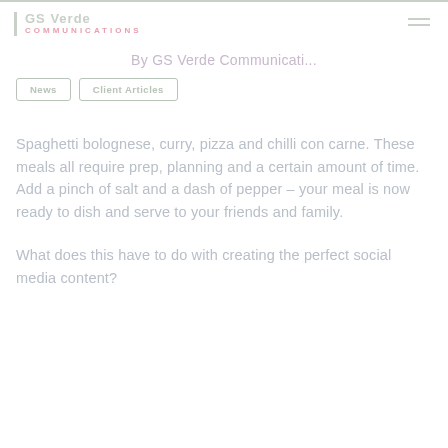GS Verde COMMUNICATIONS
By GS Verde Communicati...
News
Client Articles
Spaghetti bolognese, curry, pizza and chilli con carne. These meals all require prep, planning and a certain amount of time. Add a pinch of salt and a dash of pepper – your meal is now ready to dish and serve to your friends and family.
What does this have to do with creating the perfect social media content?